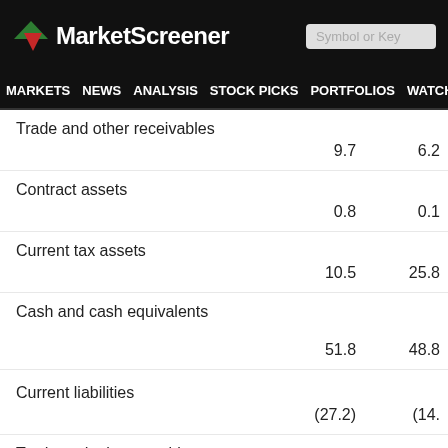MarketScreener — Symbol or Key
MARKETS NEWS ANALYSIS STOCK PICKS PORTFOLIOS WATCHLI
|  | Col1 | Col2 |
| --- | --- | --- |
| Trade and other receivables | 9.7 | 6.2 |
| Contract assets | 0.8 | 0.1 |
| Current tax assets | 10.5 | 25.8 |
| Cash and cash equivalents | 51.8 | 48.8 |
| Current liabilities | (27.2) | (14. |
| Trade and other payables | (7.1) | (5.5 |
| Contract liabilities |  |  |